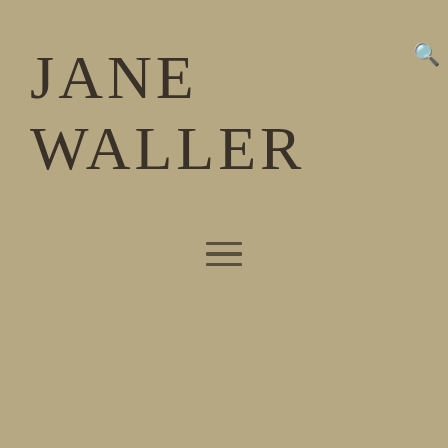JANE WALLER
≡
DECEMBER 7, 2012  /  BOOKS
Below the green pond now available on Amazon
[Figure (photo): Close-up illustration of a spotted frog with a golden eye peeking through green reeds]